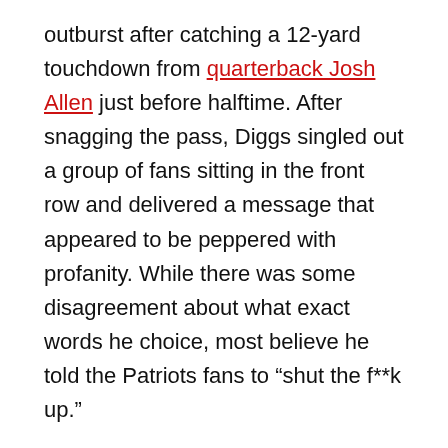outburst after catching a 12-yard touchdown from quarterback Josh Allen just before halftime. After snagging the pass, Diggs singled out a group of fans sitting in the front row and delivered a message that appeared to be peppered with profanity. While there was some disagreement about what exact words he choice, most believe he told the Patriots fans to “shut the f**k up.”
Appearing on the Pat McAfee Show this week, Diggs spoke about the incident, saying his mother was very interested to know exactly what he told those fans. According to Diggs, it wasn’t as bad as it sounded.